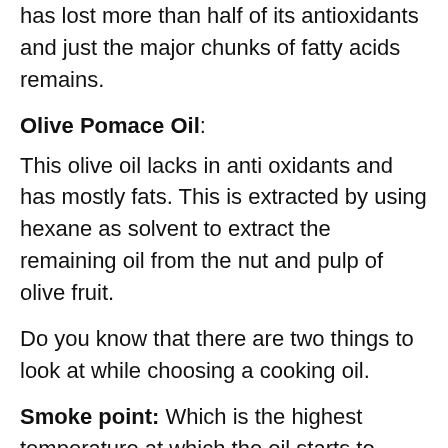has lost more than half of its antioxidants and just the major chunks of fatty acids remains.
Olive Pomace Oil:
This olive oil lacks in anti oxidants and has mostly fats. This is extracted by using hexane as solvent to extract the remaining oil from the nut and pulp of olive fruit.
Do you know that there are two things to look at while choosing a cooking oil.
Smoke point: Which is the highest temperature at which the oil starts to disintegrate and convert into smoke.
Oxidative stability: This means the